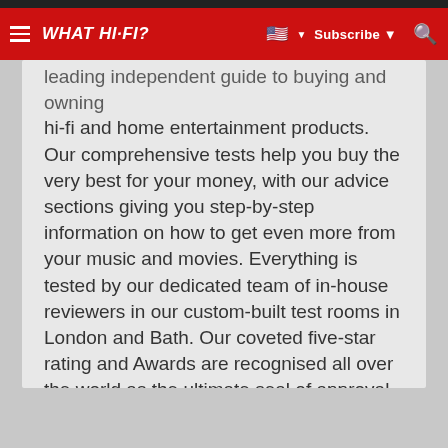WHAT HI-FI? | Subscribe | Search
leading independent guide to buying and owning hi-fi and home entertainment products. Our comprehensive tests help you buy the very best for your money, with our advice sections giving you step-by-step information on how to get even more from your music and movies. Everything is tested by our dedicated team of in-house reviewers in our custom-built test rooms in London and Bath. Our coveted five-star rating and Awards are recognised all over the world as the ultimate seal of approval, so you can buy with absolute confidence.
Read more about how we test